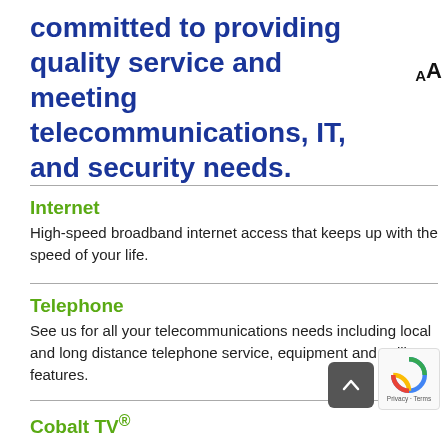committed to providing quality service and meeting telecommunications, IT, and security needs.
Internet
High-speed broadband internet access that keeps up with the speed of your life.
Telephone
See us for all your telecommunications needs including local and long distance telephone service, equipment and calling features.
Cobalt TV®